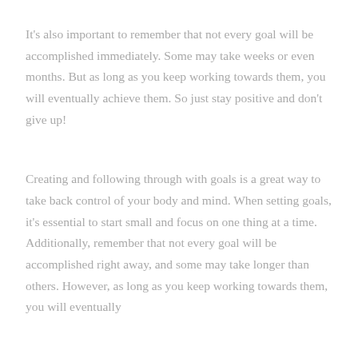It's also important to remember that not every goal will be accomplished immediately. Some may take weeks or even months. But as long as you keep working towards them, you will eventually achieve them. So just stay positive and don't give up!
Creating and following through with goals is a great way to take back control of your body and mind. When setting goals, it's essential to start small and focus on one thing at a time. Additionally, remember that not every goal will be accomplished right away, and some may take longer than others. However, as long as you keep working towards them, you will eventually